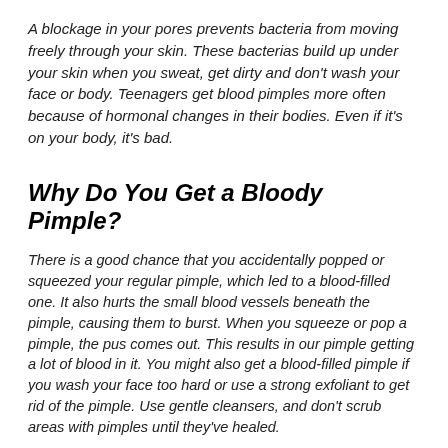A blockage in your pores prevents bacteria from moving freely through your skin. These bacterias build up under your skin when you sweat, get dirty and don't wash your face or body. Teenagers get blood pimples more often because of hormonal changes in their bodies. Even if it's on your body, it's bad.
Why Do You Get a Bloody Pimple?
There is a good chance that you accidentally popped or squeezed your regular pimple, which led to a blood-filled one. It also hurts the small blood vessels beneath the pimple, causing them to burst. When you squeeze or pop a pimple, the pus comes out. This results in our pimple getting a lot of blood in it. You might also get a blood-filled pimple if you wash your face too hard or use a strong exfoliant to get rid of the pimple. Use gentle cleansers, and don't scrub areas with pimples until they've healed.
Home Remedies To Cure Blood Pimples: